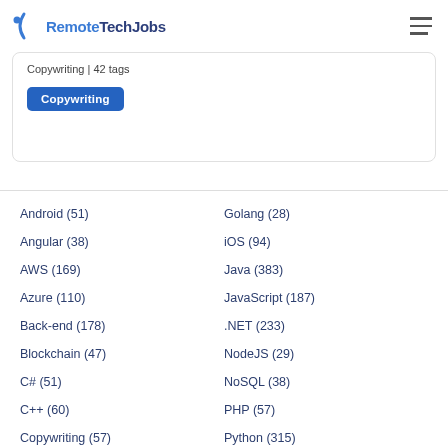RemoteTechJobs
Copywriting | 42 tags
Copywriting
Android (51)
Angular (38)
AWS (169)
Azure (110)
Back-end (178)
Blockchain (47)
C# (51)
C++ (60)
Copywriting (57)
CSS (41)
Customer Support (263)
Golang (28)
iOS (94)
Java (383)
JavaScript (187)
.NET (233)
NodeJS (29)
NoSQL (38)
PHP (57)
Python (315)
ReactJS (84)
Ruby on Rails (27)